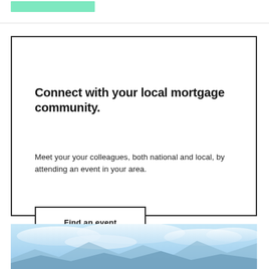Connect with your local mortgage community.
Meet your your colleagues, both national and local, by attending an event in your area.
Find an event
[Figure (photo): Aerial landscape photo of blue sky with clouds and mountain silhouettes]